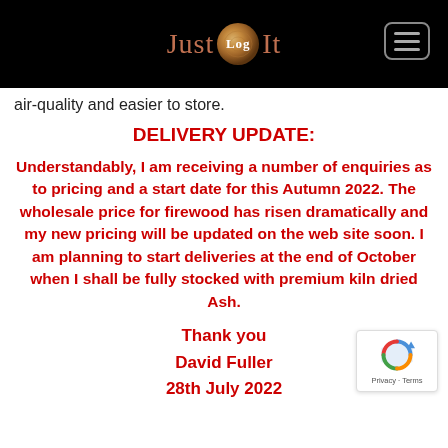[Figure (logo): Just Log It website header logo with text on black background and hamburger menu button]
air-quality and easier to store.
DELIVERY UPDATE:
Understandably, I am receiving a number of enquiries as to pricing and a start date for this Autumn 2022. The wholesale price for firewood has risen dramatically and my new pricing will be updated on the web site soon. I am planning to start deliveries at the end of October when I shall be fully stocked with premium kiln dried Ash.
Thank you
David Fuller
28th July 2022